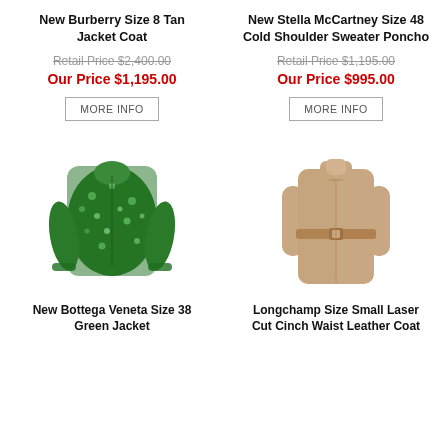New Burberry Size 8 Tan Jacket Coat
Retail Price $2,400.00
Our Price $1,195.00
New Stella McCartney Size 48 Cold Shoulder Sweater Poncho
Retail Price $1,195.00
Our Price $995.00
[Figure (photo): Green floral/sequin cropped jacket on white background]
New Bottega Veneta Size 38 Green Jacket
[Figure (photo): Tan/camel leather cinch waist coat on white background]
Longchamp Size Small Laser Cut Cinch Waist Leather Coat